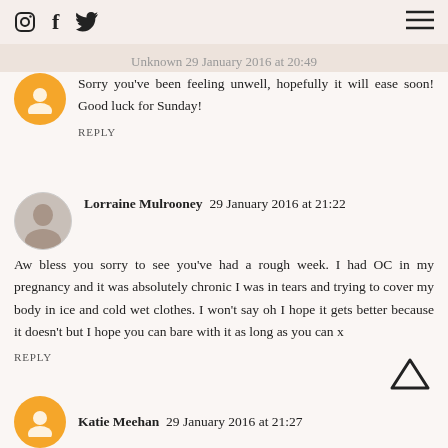[Instagram icon] [Facebook icon] [Twitter icon] [Hamburger menu]
Unknown 29 January 2016 at 20:49
Sorry you've been feeling unwell, hopefully it will ease soon! Good luck for Sunday!
REPLY
Lorraine Mulrooney  29 January 2016 at 21:22
Aw bless you sorry to see you've had a rough week. I had OC in my pregnancy and it was absolutely chronic I was in tears and trying to cover my body in ice and cold wet clothes. I won't say oh I hope it gets better because it doesn't but I hope you can bare with it as long as you can x
REPLY
Katie Meehan  29 January 2016 at 21:27